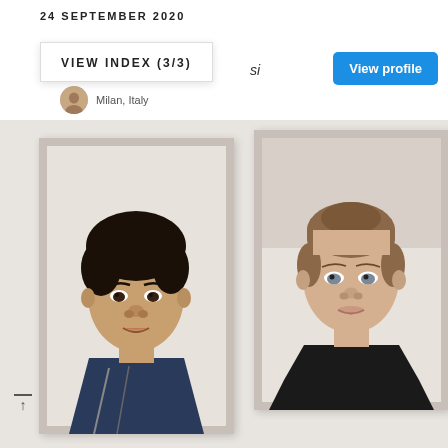24 SEPTEMBER 2020
VIEW INDEX (3/3)
si
Milan, Italy
[Figure (photo): Two passport-style portrait photos side by side: left shows a young man with curly dark hair wearing a denim jacket; right shows a young woman with straight hair pulled back wearing a black top. Photos are displayed as prints on a light background.]